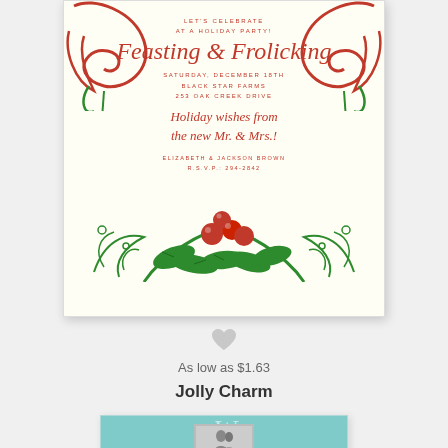[Figure (illustration): Holiday party invitation card with red and green decorative scrollwork, holly berries at bottom, red script text reading 'Feasting & Frolicking', details for Saturday December 18th at Black Star Farms, 253 Oak Creek Drive, with holiday wishes from the new Mr. & Mrs., Elizabeth & Jackson Brown, RSVP 294-2842]
[Figure (illustration): Heart/favorite icon in light gray]
As low as $1.63
Jolly Charm
[Figure (illustration): Teal/mint colored card with large W monogram watermark and a small inset photo of a couple at the bottom, partially visible]